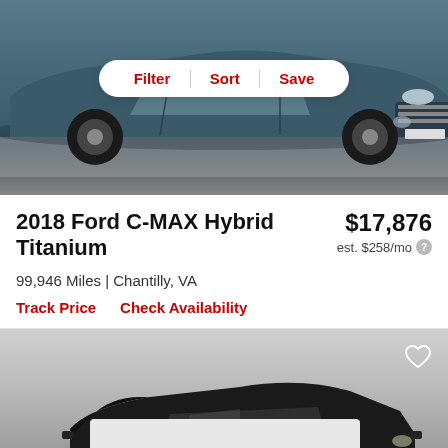[Figure (photo): Front view of a blue 2018 Ford C-MAX Hybrid Titanium sedan in a showroom with white tile floor. A Filter/Sort/Save pill button overlays the top of the image.]
2018 Ford C-MAX Hybrid Titanium
$17,876
est. $258/mo
99,946 Miles | Chantilly, VA
Track Price    Check Availability
[Figure (photo): Partial front view of a dark/black Ford C-MAX in an outdoor setting, with a heart/save icon in the top right corner and a gray overlay card at the bottom.]